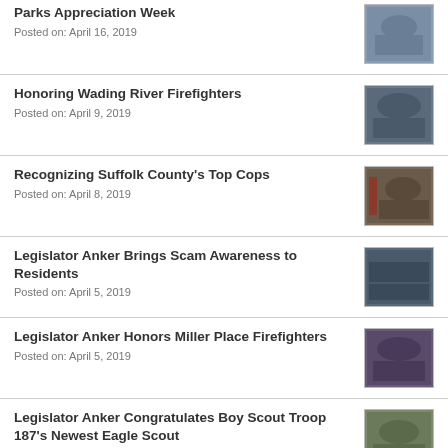Parks Appreciation Week
Posted on: April 16, 2019
[Figure (photo): Group photo at Parks Appreciation Week event]
Honoring Wading River Firefighters
Posted on: April 9, 2019
[Figure (photo): Group photo of Wading River Firefighters being honored]
Recognizing Suffolk County's Top Cops
Posted on: April 8, 2019
[Figure (photo): Group photo of Suffolk County's Top Cops recognition ceremony]
Legislator Anker Brings Scam Awareness to Residents
Posted on: April 5, 2019
[Figure (photo): Photo of scam awareness event with residents]
Legislator Anker Honors Miller Place Firefighters
Posted on: April 5, 2019
[Figure (photo): Group photo of Miller Place Firefighters being honored]
Legislator Anker Congratulates Boy Scout Troop 187's Newest Eagle Scout
[Figure (photo): Photo related to Boy Scout Troop 187 Eagle Scout]